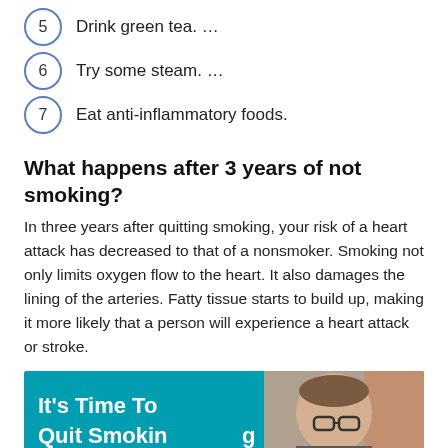5  Drink green tea. …
6  Try some steam. …
7  Eat anti-inflammatory foods.
What happens after 3 years of not smoking?
In three years after quitting smoking, your risk of a heart attack has decreased to that of a nonsmoker. Smoking not only limits oxygen flow to the heart. It also damages the lining of the arteries. Fatty tissue starts to build up, making it more likely that a person will experience a heart attack or stroke.
[Figure (screenshot): Video thumbnail with teal background showing text 'It's Time To Quit Smoking and Vaping' in white bold font, a man with glasses on the right side, and a red YouTube play button at the bottom center.]